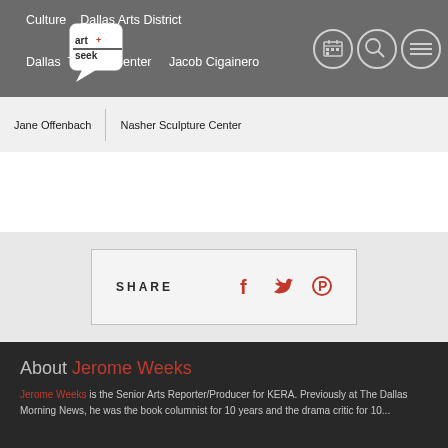Culture · Dallas Arts District · Dallas Theater Center · Jacob Cigainero
[Figure (logo): art+seek logo, white speech bubble with art+seek text]
Jane Offenbach · Nasher Sculpture Center
[Figure (infographic): SHARE box with Facebook, Twitter, and Pinterest icons in red]
About Jerome Weeks
Jerome Weeks is the Senior Arts Reporter/Producer for KERA. Previously at The Dallas Morning News, he was the book columnist for 10 years and the drama critic for 10...